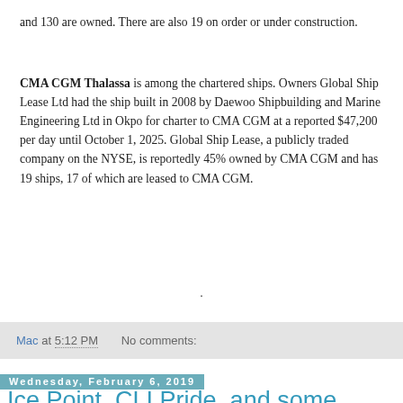and 130 are owned. There are also 19 on order or under construction.
CMA CGM Thalassa is among the chartered ships. Owners Global Ship Lease Ltd had the ship built in 2008 by Daewoo Shipbuilding and Marine Engineering Ltd in Okpo for charter to CMA CGM at a reported $47,200 per day until October 1, 2025. Global Ship Lease, a publicly traded company on the NYSE, is reportedly 45% owned by CMA CGM and has 19 ships, 17 of which are leased to CMA CGM.
.
Mac at 5:12 PM    No comments:
Wednesday, February 6, 2019
Ice Point, CLI Pride, and some harbour